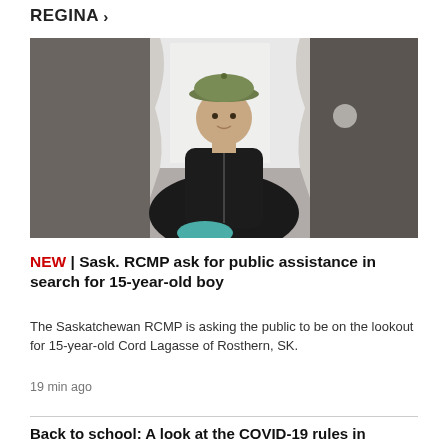REGINA >
[Figure (photo): A teenage boy wearing a camo cap and black jacket, seated indoors near a window with white curtains.]
NEW | Sask. RCMP ask for public assistance in search for 15-year-old boy
The Saskatchewan RCMP is asking the public to be on the lookout for 15-year-old Cord Lagasse of Rosthern, SK.
19 min ago
Back to school: A look at the COVID-19 rules in